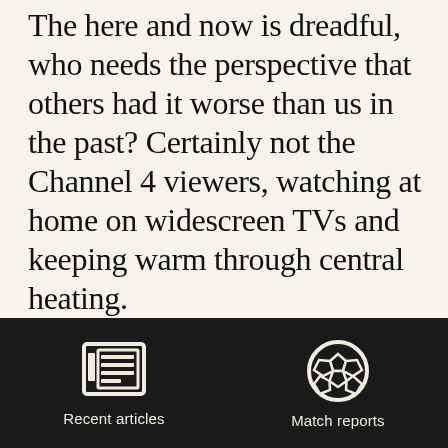The here and now is dreadful, who needs the perspective that others had it worse than us in the past? Certainly not the Channel 4 viewers, watching at home on widescreen TVs and keeping warm through central heating.
Perspective is not always welcomed and, as City's season looks set to unpause again with the visit of Notts County, the opportunity arises to
Recent articles   Match reports